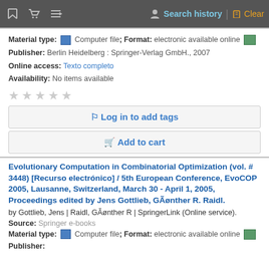Search history | Clear
Material type: Computer file; Format: electronic available online
Publisher: Berlin Heidelberg : Springer-Verlag GmbH., 2007
Online access: Texto completo
Availability: No items available
Log in to add tags
Add to cart
Evolutionary Computation in Combinatorial Optimization (vol. # 3448) [Recurso electrónico] / 5th European Conference, EvoCOP 2005, Lausanne, Switzerland, March 30 - April 1, 2005, Proceedings edited by Jens Gottlieb, GÃønther R. Raidl.
by Gottlieb, Jens | Raidl, GÃønther R | SpringerLink (Online service).
Source: Springer e-books
Material type: Computer file; Format: electronic available online
Publisher: Berlin Heidelberg : Springer-Verlag GmbH., 2005